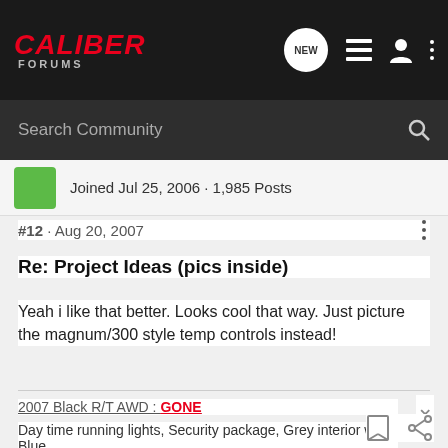CALIBER FORUMS
Search Community
Joined Jul 25, 2006 · 1,985 Posts
#12 · Aug 20, 2007
Re: Project Ideas (pics inside)
Yeah i like that better. Looks cool that way. Just picture the magnum/300 style temp controls instead!
2007 Black R/T AWD : GONE
Day time running lights, Security package, Grey interior w Blue